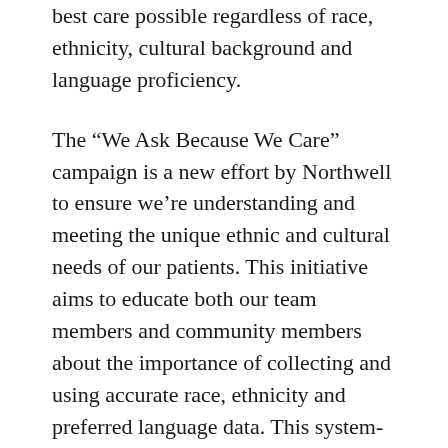best care possible regardless of race, ethnicity, cultural background and language proficiency.
The “We Ask Because We Care” campaign is a new effort by Northwell to ensure we’re understanding and meeting the unique ethnic and cultural needs of our patients. This initiative aims to educate both our team members and community members about the importance of collecting and using accurate race, ethnicity and preferred language data. This system-wide campaign is part of a national push to support the goals of the National Call to Action to Eliminate Health Care Disparities and comes as a result of our CEO, Michael J. Dowling, signing the Equity of Care Pledge from the American Hospital Association.